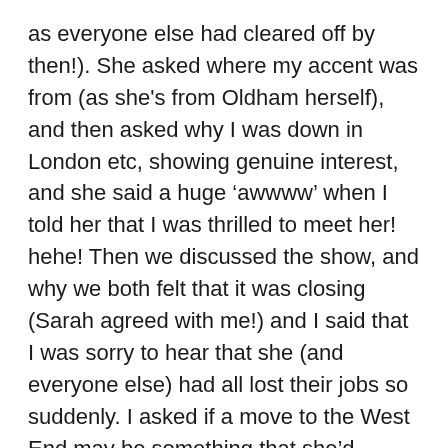as everyone else had cleared off by then!). She asked where my accent was from (as she's from Oldham herself), and then asked why I was down in London etc, showing genuine interest, and she said a huge ‘awwww’ when I told her that I was thrilled to meet her! hehe! Then we discussed the show, and why we both felt that it was closing (Sarah agreed with me!) and I said that I was sorry to hear that she (and everyone else) had all lost their jobs so suddenly. I asked if a move to the West End may be something that she’d consider doing more often than screen now, but it seems to very much depend on what is next offered – personally, I’d LOVE to see her in something like a West End production/transfer of Sweeney Todd or similar.
A very classy lady and it was a pleasure to spend five minutes in her company! x